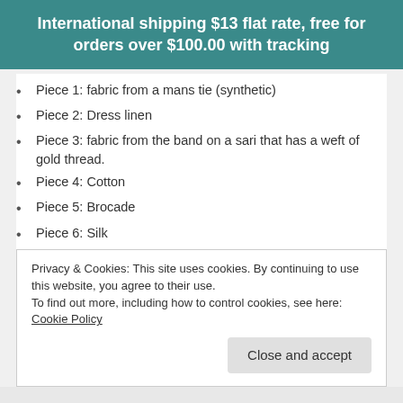International shipping $13 flat rate, free for orders over $100.00 with tracking
Piece 1: fabric from a mans tie (synthetic)
Piece 2: Dress linen
Piece 3: fabric from the band on a sari that has a weft of gold thread.
Piece 4: Cotton
Piece 5: Brocade
Piece 6: Silk
Piece 7: Silk
Item Count:
This quilt is a Y2K quilt which means I Dropped the Button Box
Privacy & Cookies: This site uses cookies. By continuing to use this website, you agree to their use. To find out more, including how to control cookies, see here: Cookie Policy